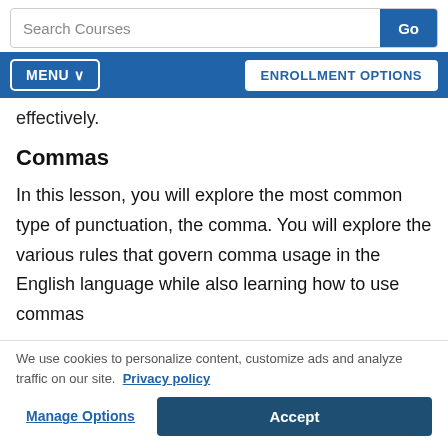Search Courses | Go
MENU ∨ | ENROLLMENT OPTIONS
effectively.
Commas
In this lesson, you will explore the most common type of punctuation, the comma. You will explore the various rules that govern comma usage in the English language while also learning how to use commas
We use cookies to personalize content, customize ads and analyze traffic on our site.  Privacy policy
Manage Options | Accept